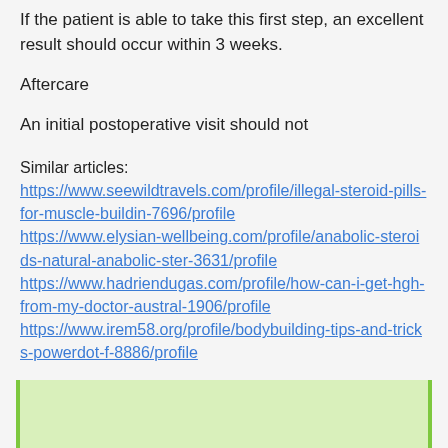If the patient is able to take this first step, an excellent result should occur within 3 weeks.
Aftercare
An initial postoperative visit should not
Similar articles:
https://www.seewildtravels.com/profile/illegal-steroid-pills-for-muscle-buildin-7696/profile
https://www.elysian-wellbeing.com/profile/anabolic-steroids-natural-anabolic-ster-3631/profile
https://www.hadriendugas.com/profile/how-can-i-get-hgh-from-my-doctor-austral-1906/profile
https://www.irem58.org/profile/bodybuilding-tips-and-tricks-powerdot-f-8886/profile
[Figure (other): Green highlighted box at the bottom of the page]